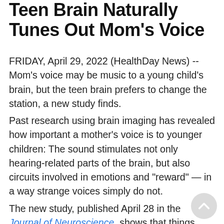Teen Brain Naturally Tunes Out Mom's Voice
FRIDAY, April 29, 2022 (HealthDay News) -- Mom's voice may be music to a young child's brain, but the teen brain prefers to change the station, a new study finds.
Past research using brain imaging has revealed how important a mother's voice is to younger children: The sound stimulates not only hearing-related parts of the brain, but also circuits involved in emotions and "reward" — in a way strange voices simply do not.
The new study, published April 28 in the Journal of Neuroscience, shows that things start to change around the age of 13. At that point, the brain's vocal preferences shift, tuning mom out in favor of unfamiliar voices.